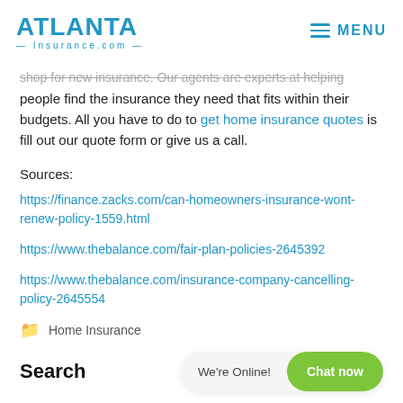ATLANTA INSURANCE.COM | MENU
shop for new insurance. Our agents are experts at helping people find the insurance they need that fits within their budgets. All you have to do to get home insurance quotes is fill out our quote form or give us a call.
Sources:
https://finance.zacks.com/can-homeowners-insurance-wont-renew-policy-1559.html
https://www.thebalance.com/fair-plan-policies-2645392
https://www.thebalance.com/insurance-company-cancelling-policy-2645554
Home Insurance
cancelation, CLUE report, home insurance
Search | We're Online! | Chat now